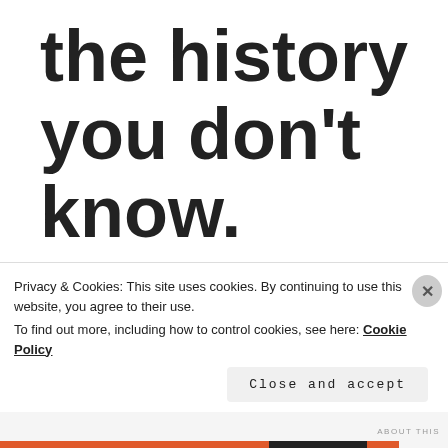the history you don't know.
Harry S. Truman
Privacy & Cookies: This site uses cookies. By continuing to use this website, you agree to their use.
To find out more, including how to control cookies, see here: Cookie Policy
Close and accept